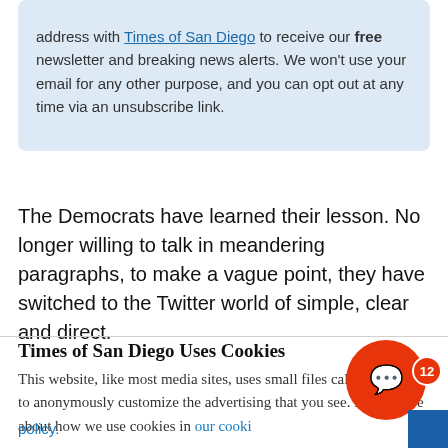address with Times of San Diego to receive our free newsletter and breaking news alerts. We won't use your email for any other purpose, and you can opt out at any time via an unsubscribe link.
The Democrats have learned their lesson. No longer willing to talk in meandering paragraphs, to make a vague point, they have switched to the Twitter world of simple, clear and direct.
Times of San Diego Uses Cookies
This website, like most media sites, uses small files called cookies to anonymously customize the advertising that you see. Learn more about how we use cookies in our cookie policy.